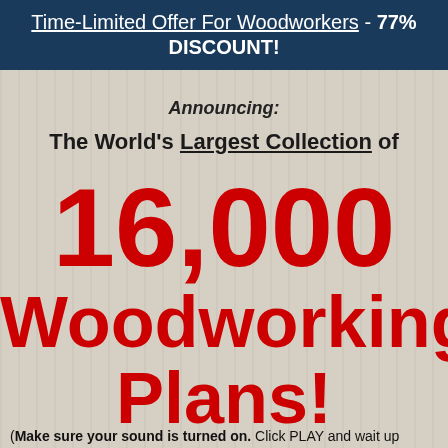Time-Limited Offer For Woodworkers - 77% DISCOUNT!
Announcing:
The World's Largest Collection of
16,000 Woodworking Plans!
(Make sure your sound is turned on. Click PLAY and wait up